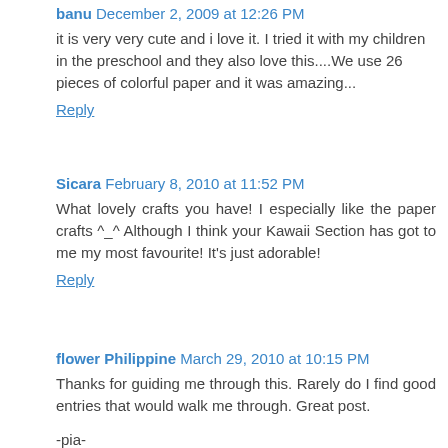banu  December 2, 2009 at 12:26 PM
it is very very cute and i love it. I tried it with my children in the preschool and they also love this....We use 26 pieces of colorful paper and it was amazing...
Reply
Sicara  February 8, 2010 at 11:52 PM
What lovely crafts you have! I especially like the paper crafts ^_^ Although I think your Kawaii Section has got to me my most favourite! It's just adorable!
Reply
flower Philippine  March 29, 2010 at 10:15 PM
Thanks for guiding me through this. Rarely do I find good entries that would walk me through. Great post.
-pia-